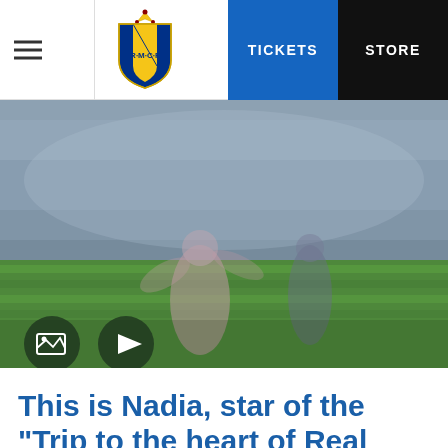Real Madrid CF website header with hamburger menu, Real Madrid crest logo, TICKETS button, STORE button
[Figure (photo): Blurred stadium photo showing a person on the pitch at Real Madrid's Bernabeu stadium with green grass and stadium seating visible in background. Media control icons (gallery and play button) visible at bottom left.]
This is Nadia, star of the "Trip to the heart of Real Madrid 2019"